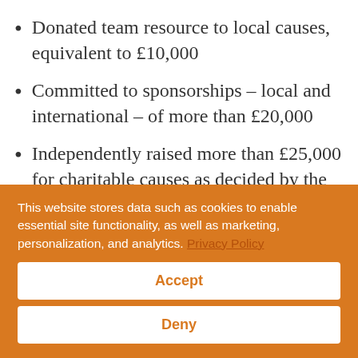Donated team resource to local causes, equivalent to £10,000
Committed to sponsorships – local and international – of more than £20,000
Independently raised more than £25,000 for charitable causes as decided by the team
This website stores data such as cookies to enable essential site functionality, as well as marketing, personalization, and analytics. Privacy Policy
Accept
Deny